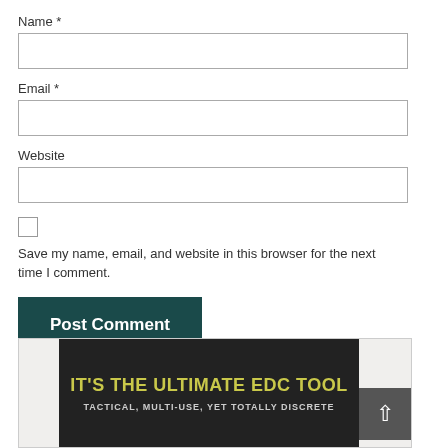Name *
Email *
Website
Save my name, email, and website in this browser for the next time I comment.
Post Comment
[Figure (infographic): Advertisement banner with dark background showing text: IT'S THE ULTIMATE EDC TOOL / TACTICAL, MULTI-USE, YET TOTALLY DISCRETE]